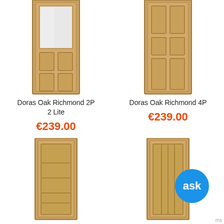[Figure (photo): Oak door with glass panel at top and two wood panels at bottom - Doras Oak Richmond 2P 2 Lite]
[Figure (photo): Oak door with four raised panels - Doras Oak Richmond 4P]
Doras Oak Richmond 2P 2 Lite
€239.00
Doras Oak Richmond 4P
€239.00
[Figure (photo): Modern oak door with horizontal grooves/lines]
[Figure (photo): Modern oak door with vertical lines/planks]